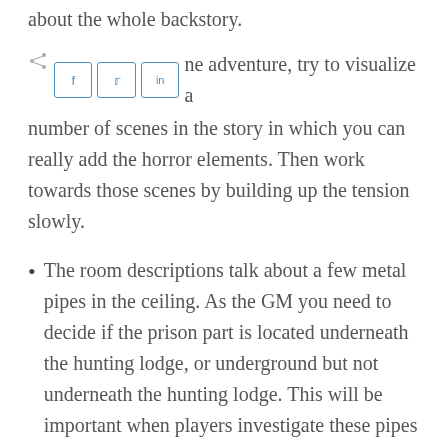about the whole backstory.
As you design the adventure, try to visualize a number of scenes in the story in which you can really add the horror elements. Then work towards those scenes by building up the tension slowly.
The room descriptions talk about a few metal pipes in the ceiling. As the GM you need to decide if the prison part is located underneath the hunting lodge, or underground but not underneath the hunting lodge. This will be important when players investigate these pipes thinking it to be a trap. If the prison is beneath the hunting lodge, these pipes need to end up somewhere. I hadn't